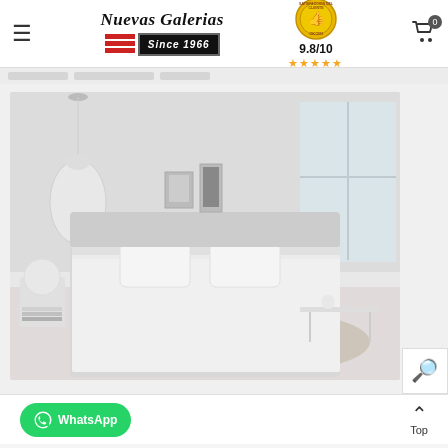[Figure (logo): Nuevas Galerias logo with 'Since 1966' badge and red stripes icon]
[Figure (other): Gold satisfaction seal/badge with thumbs up icon]
9.8/10
[Figure (other): Five gold stars rating]
[Figure (photo): White bedroom with a made bed featuring white bedspread and pillows, pendant light, artwork on wall, window, coffee table and rug]
[Figure (other): reCAPTCHA badge in bottom right corner]
WhatsApp
Top